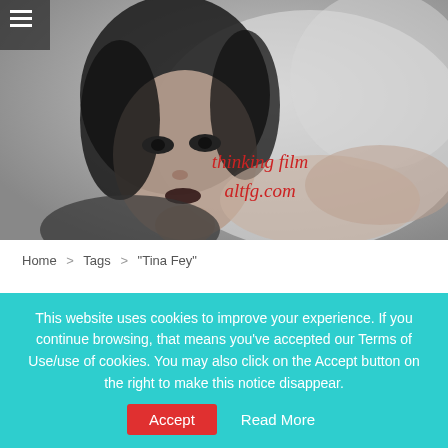[Figure (photo): Black and white vintage photo of a young woman with short dark hair looking at the camera, reclining. Overlay text reads 'thinking film altfg.com' in red italic.]
Home > Tags > "Tina Fey"
TINA FEY
This website uses cookies to improve your experience. If you continue browsing, that means you've accepted our Terms of Use/use of cookies. You may also click on the Accept button on the right to make this notice disappear.
Accept
Read More